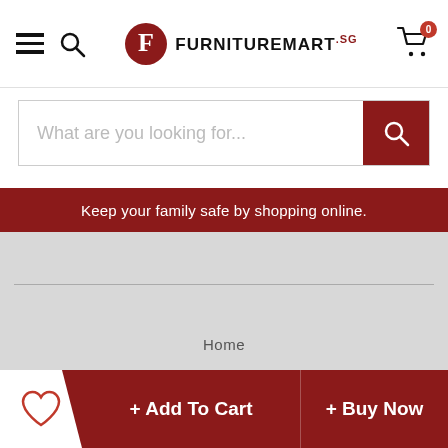[Figure (logo): FurnitureMart.sg logo with red F circle icon and text FURNITUREMART.SG]
What are you looking for...
Keep your family safe by shopping online.
Home
About Us
Contact Us
Warehouse Locator
+ Add To Cart
+ Buy Now